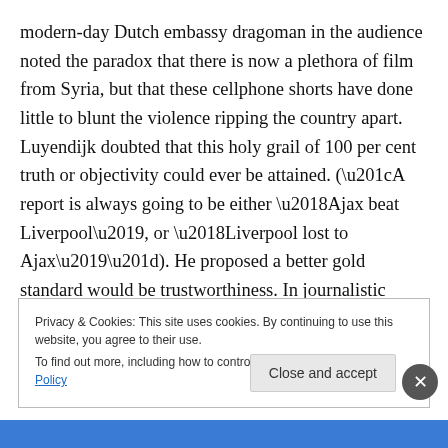modern-day Dutch embassy dragoman in the audience noted the paradox that there is now a plethora of film from Syria, but that these cellphone shorts have done little to blunt the violence ripping the country apart. Luyendijk doubted that this holy grail of 100 per cent truth or objectivity could ever be attained. (“A report is always going to be either ‘Ajax beat Liverpool’, or ‘Liverpool lost to Ajax’”). He proposed a better gold standard would be trustworthiness. In journalistic terms, we agreed, that could be defined as “an honest best shot”.
Privacy & Cookies: This site uses cookies. By continuing to use this website, you agree to their use.
To find out more, including how to control cookies, see here: Cookie Policy
Close and accept